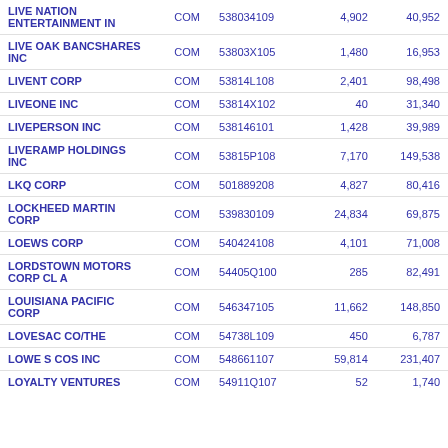| LIVE NATION ENTERTAINMENT IN | COM | 538034109 | 4,902 | 40,952 |
| LIVE OAK BANCSHARES INC | COM | 53803X105 | 1,480 | 16,953 |
| LIVENT CORP | COM | 53814L108 | 2,401 | 98,498 |
| LIVEONE INC | COM | 53814X102 | 40 | 31,340 |
| LIVEPERSON INC | COM | 538146101 | 1,428 | 39,989 |
| LIVERAMP HOLDINGS INC | COM | 53815P108 | 7,170 | 149,538 |
| LKQ CORP | COM | 501889208 | 4,827 | 80,416 |
| LOCKHEED MARTIN CORP | COM | 539830109 | 24,834 | 69,875 |
| LOEWS CORP | COM | 540424108 | 4,101 | 71,008 |
| LORDSTOWN MOTORS CORP CL A | COM | 54405Q100 | 285 | 82,491 |
| LOUISIANA PACIFIC CORP | COM | 546347105 | 11,662 | 148,850 |
| LOVESAC CO/THE | COM | 54738L109 | 450 | 6,787 |
| LOWE S COS INC | COM | 548661107 | 59,814 | 231,407 |
| LOYALTY VENTURES | COM | 54911Q107 | 52 | 1,740 |